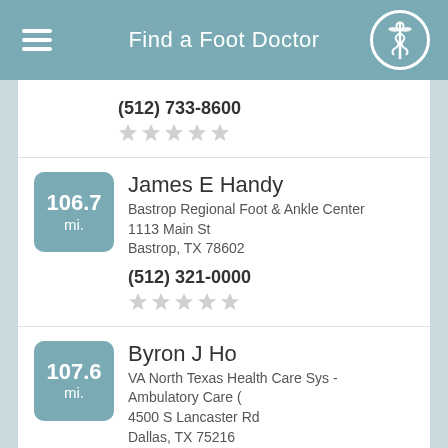Find a Foot Doctor
(512) 733-8600
James E Handy
Bastrop Regional Foot & Ankle Center
1113 Main St
Bastrop, TX 78602
(512) 321-0000
Byron J Ho
VA North Texas Health Care Sys - Ambulatory Care (
4500 S Lancaster Rd
Dallas, TX 75216